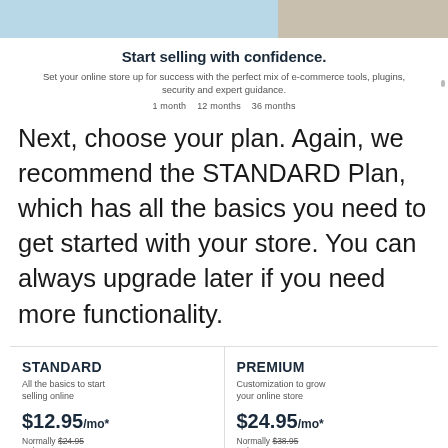[Figure (photo): Top banner image split: left side light blue, right side showing desk/craft items]
Start selling with confidence.
Set your online store up for success with the perfect mix of e-commerce tools, plugins, security and expert guidance.
1 month   12 months   36 months
Next, choose your plan. Again, we recommend the STANDARD Plan, which has all the basics you need to get started with your store. You can always upgrade later if you need more functionality.
| STANDARD | PREMIUM |
| --- | --- |
| All the basics to start selling online | Customization to grow your online store |
| $12.95/mo* | $24.95/mo* |
| Normally $24.95 | Normally $38.95 |
| 36/mo term | 36/mo term |